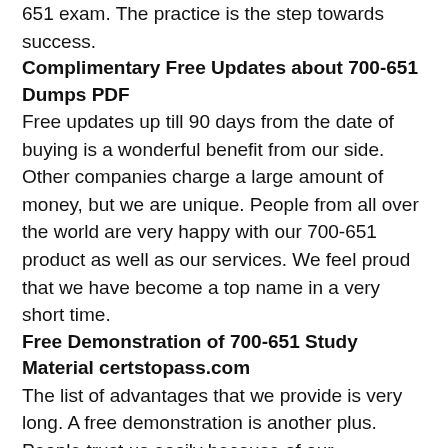651 exam. The practice is the step towards success.
Complimentary Free Updates about 700-651 Dumps PDF
Free updates up till 90 days from the date of buying is a wonderful benefit from our side. Other companies charge a large amount of money, but we are unique. People from all over the world are very happy with our 700-651 product as well as our services. We feel proud that we have become a top name in a very short time.
Free Demonstration of 700-651 Study Material certstopass.com
The list of advantages that we provide is very long. A free demonstration is another plus. People trust us easily because of our transparency. We keep our clients free of stress and worries. They see the salient features of the product before buying and put their trust in us.
Certstopass Provides Guaranteed 100% Refund for